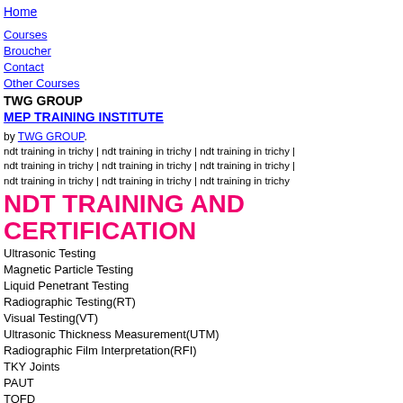Home
Courses
Broucher
Contact
Other Courses
TWG GROUP
MEP TRAINING INSTITUTE
by TWG GROUP.
ndt training in trichy | ndt training in trichy | ndt training in trichy |
ndt training in trichy | ndt training in trichy | ndt training in trichy |
ndt training in trichy | ndt training in trichy | ndt training in trichy
NDT TRAINING AND CERTIFICATION
Ultrasonic Testing
Magnetic Particle Testing
Liquid Penetrant Testing
Radiographic Testing(RT)
Visual Testing(VT)
Ultrasonic Thickness Measurement(UTM)
Radiographic Film Interpretation(RFI)
TKY Joints
PAUT
TOFD
ADDRESS :